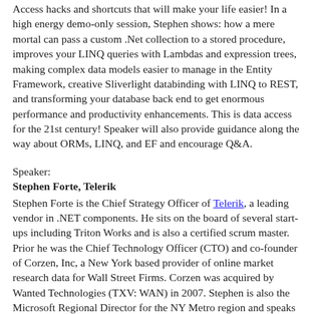Access hacks and shortcuts that will make your life easier! In a high energy demo-only session, Stephen shows: how a mere mortal can pass a custom .Net collection to a stored procedure, improves your LINQ queries with Lambdas and expression trees, making complex data models easier to manage in the Entity Framework, creative Sliverlight databinding with LINQ to REST, and transforming your database back end to get enormous performance and productivity enhancements. This is data access for the 21st century! Speaker will also provide guidance along the way about ORMs, LINQ, and EF and encourage Q&A.
Speaker:
Stephen Forte, Telerik
Stephen Forte is the Chief Strategy Officer of Telerik, a leading vendor in .NET components. He sits on the board of several start-ups including Triton Works and is also a certified scrum master. Prior he was the Chief Technology Officer (CTO) and co-founder of Corzen, Inc, a New York based provider of online market research data for Wall Street Firms. Corzen was acquired by Wanted Technologies (TXV: WAN) in 2007. Stephen is also the Microsoft Regional Director for the NY Metro region and speaks regularly at industry conferences around the world. He has written several books on application and database development including Programming SQL Server 2008 (MS Press). Prior to Corzen, Stephen served as the CTO of Zagat Survey in New York City and